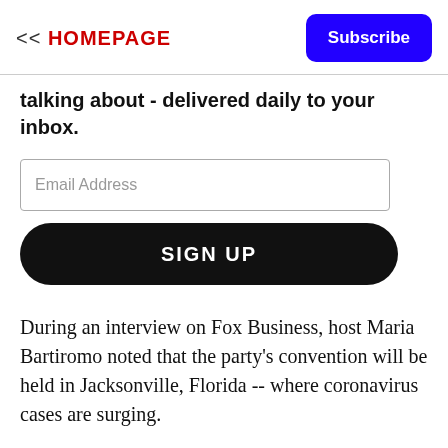<< HOMEPAGE
[Figure (other): Subscribe button (blue rounded rectangle)]
talking about - delivered daily to your inbox.
[Figure (other): Email Address input field]
[Figure (other): SIGN UP button (black rounded rectangle)]
During an interview on Fox Business, host Maria Bartiromo noted that the party's convention will be held in Jacksonville, Florida -- where coronavirus cases are surging.